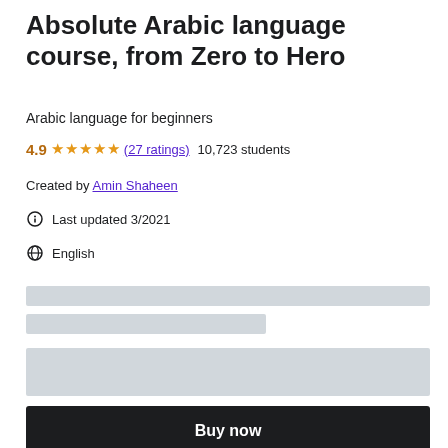Absolute Arabic language course, from Zero to Hero
Arabic language for beginners
4.9 ★★★★★ (27 ratings) 10,723 students
Created by Amin Shaheen
Last updated 3/2021
English
[Figure (other): Gray placeholder content bars]
Buy now